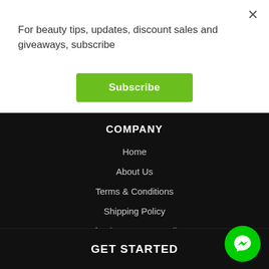For beauty tips, updates, discount sales and giveaways, subscribe
Subscribe
COMPANY
Home
About Us
Terms & Conditions
Shipping Policy
Refunds & Returns Policy
GET STARTED
[Figure (other): Messenger chat button icon (green circle with white messenger lightning bolt logo)]